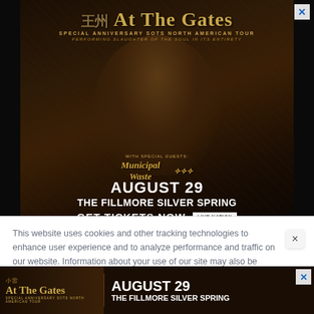[Figure (illustration): Concert advertisement for At The Gates 'Special Anniversary SOTS North American Tour' performing Slaughter of the Soul. August 29 at The Fillmore Silver Spring. Special guests: Municipal Waste and another band. Get Tickets Now via Live Nation. Dark background with medieval-style figure surrounded by chains.]
This website uses cookies and other tracking technologies to enhance user experience and to analyze performance and traffic on our website. Information about your use of our site may also be shared with social media, advertising, retail and analytics providers and partners.  Privacy Policy
[Figure (illustration): Bottom sticky banner ad for At The Gates concert. August 29 The Fillmore Silver Spring. Shows band logo and tour information.]